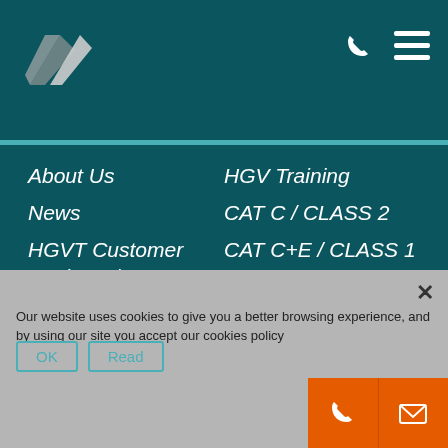[Figure (logo): Company logo — angular chevron/arrow shapes in grey and white on teal background]
About Us
HGV Training
News
CAT C / CLASS 2
HGVT Customer Reviews / Testimonials
CAT C+E / CLASS 1
Contact Us
CAT C1
Terms & Conditions
Privacy Policy
PGV Training...
CPC Certification...
Our website uses cookies to give you a better browsing experience, and by using our site you accept our cookies policy